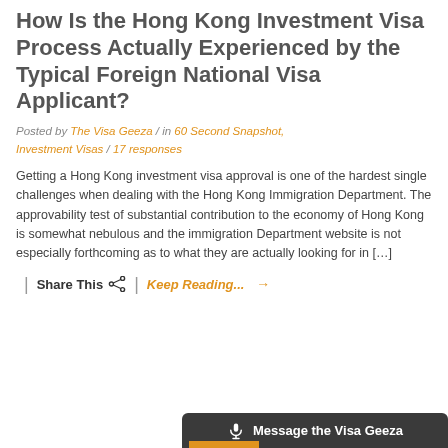How Is the Hong Kong Investment Visa Process Actually Experienced by the Typical Foreign National Visa Applicant?
Posted by The Visa Geeza / in 60 Second Snapshot, Investment Visas / 17 responses
Getting a Hong Kong investment visa approval is one of the hardest single challenges when dealing with the Hong Kong Immigration Department. The approvability test of substantial contribution to the economy of Hong Kong is somewhat nebulous and the immigration Department website is not especially forthcoming as to what they are actually looking for in […]
Share This | Keep Reading... →
Message the Visa Geeza